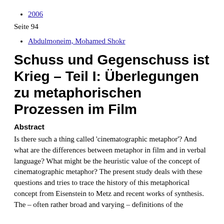2006
Seite 94
Abdulmoneim, Mohamed Shokr
Schuss und Gegenschuss ist Krieg – Teil I: Überlegungen zu metaphorischen Prozessen im Film
Abstract
Is there such a thing called 'cinematographic metaphor'? And what are the differences between metaphor in film and in verbal language? What might be the heuristic value of the concept of cinematographic metaphor? The present study deals with these questions and tries to trace the history of this metaphorical concept from Eisenstein to Metz and recent works of synthesis. The – often rather broad and varying – definitions of the